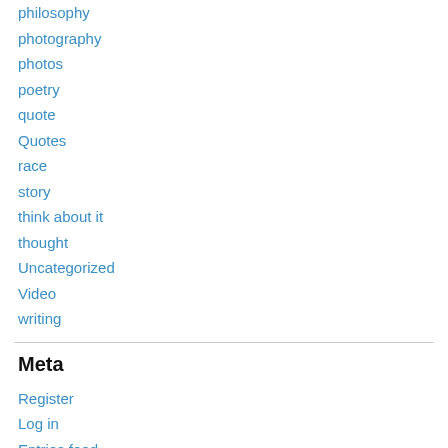philosophy
photography
photos
poetry
quote
Quotes
race
story
think about it
thought
Uncategorized
Video
writing
Meta
Register
Log in
Entries feed
Comments feed